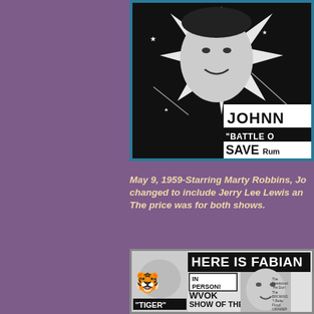[Figure (photo): Scanned concert advertisement showing a man's face on a star background with text 'JOHNNY' and '"BATTLE O' and 'SAVE Rum' visible. Blue border around image.]
May 9, 1959-Starring Marty Robbins, Jo changed to include Jerry Lee Lewis an The price was for both shows.
[Figure (photo): Scanned concert advertisement for Fabian with text 'HERE IS FABIAN', 'IN PERSON!', 'WVOK SHOW OF THE', '"TIGER"', and partial listings for Fleetwood, Browns, Floyd Cramer.]